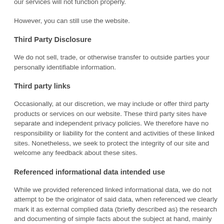our services will not function properly.
However, you can still use the website.
Third Party Disclosure
We do not sell, trade, or otherwise transfer to outside parties your personally identifiable information.
Third party links
Occasionally, at our discretion, we may include or offer third party products or services on our website. These third party sites have separate and independent privacy policies. We therefore have no responsibility or liability for the content and activities of these linked sites. Nonetheless, we seek to protect the integrity of our site and welcome any feedback about these sites.
Referenced informational data intended use
While we provided referenced linked informational data, we do not attempt to be the originator of said data, when referenced we clearly mark it as external complied data (briefly described as) the research and documenting of simple facts about the subject at hand, mainly regions, coin type identification, metal composition, and historical information dealing with: engraved design/designer and/or the subject matter of the design. Please contact us if you feel we have infringed on your intellectual property as this is not our